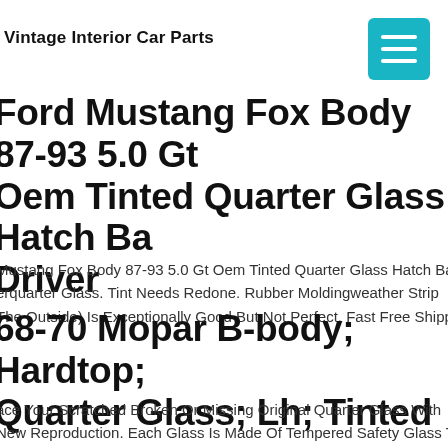Vintage Interior Car Parts
Ford Mustang Fox Body 87-93 5.0 Gt Oem Tinted Quarter Glass Hatch Back Driver
Mustang Fox Body 87-93 5.0 Gt Oem Tinted Quarter Glass Hatch Back Quarterquarter Glass. Tint Needs Redone. Rubber Moldingweather Strip (The Outside) Is Exceptionally Good But Not Perfect. Fast Free Shipping
68-70 Mopar B-body; Hardtop; Quarter Glass; Lh; Tinted
Replace Your Scratched Broken Or Missing Original Quarter Glass With A New Reproduction. Each Glass Is Made Of Tempered Safety Glass To The Correct Thickness And Features The Etched Pentastar Logo With